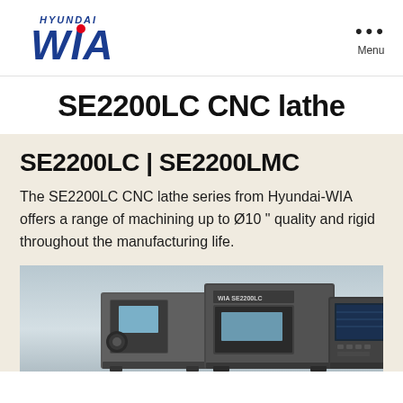[Figure (logo): Hyundai WIA logo with blue stylized WIA text and a small red dot accent, plus HYUNDAI text above]
SE2200LC CNC lathe
SE2200LC | SE2200LMC
The SE2200LC CNC lathe series from Hyundai-WIA offers a range of machining up to Ø10 " quality and rigid throughout the manufacturing life.
[Figure (photo): CNC lathe machine SE2200LC/SE2200LMC shown from front, dark grey and black industrial machine with control panel on right side, displayed against a light grey-blue gradient background]